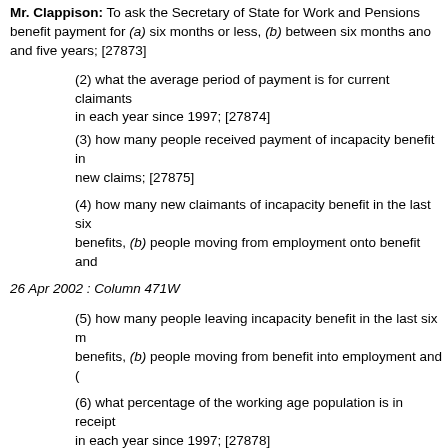Mr. Clappison: To ask the Secretary of State for Work and Pensions benefit payment for (a) six months or less, (b) between six months and and five years; [27873]
(2) what the average period of payment is for current claimants in each year since 1997; [27874]
(3) how many people received payment of incapacity benefit in new claims; [27875]
(4) how many new claimants of incapacity benefit in the last six benefits, (b) people moving from employment onto benefit and
26 Apr 2002 : Column 471W
(5) how many people leaving incapacity benefit in the last six m benefits, (b) people moving from benefit into employment and (
(6) what percentage of the working age population is in receipt in each year since 1997; [27878]
(7) how many new claimants of incapacity benefit in the last six or (b) income support at any time during the previous 12 month
Mr. Nicholas Brown: We are committed to helping Incapacity Benefit provide security for those who cannot. Since 22 October 2001, people pathfinder offices are required to participate in a Jobcentre Plus intervi
The reviews enable IB customers to discuss with their Personal Adviso interviews also provide an ideal opportunity for people to participate in
For many people the key aim of the review is to ensure that they are re the help and support that is available to enable them to move back int